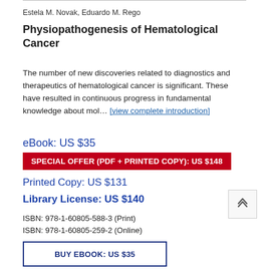Estela M. Novak, Eduardo M. Rego
Physiopathogenesis of Hematological Cancer
The number of new discoveries related to diagnostics and therapeutics of hematological cancer is significant. These have resulted in continuous progress in fundamental knowledge about mol... [view complete introduction]
eBook: US $35
SPECIAL OFFER (PDF + PRINTED COPY): US $148
Printed Copy: US $131
Library License: US $140
ISBN: 978-1-60805-588-3 (Print)
ISBN: 978-1-60805-259-2 (Online)
BUY EBOOK: US $35